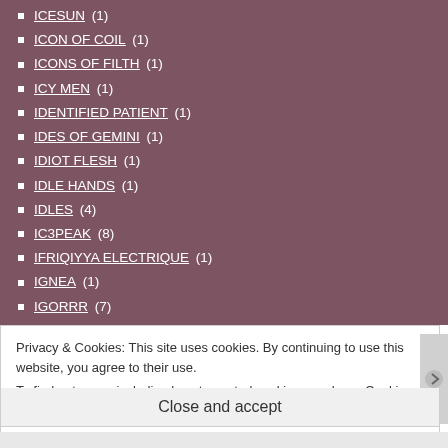ICESUN (1)
ICON OF COIL (1)
ICONS OF FILTH (1)
ICY MEN (1)
IDENTIFIED PATIENT (1)
IDES OF GEMINI (1)
IDIOT FLESH (1)
IDLE HANDS (1)
IDLES (4)
IC3PEAK (8)
IFRIQIYYA ELECTRIQUE (1)
IGNEA (1)
IGORRR (7)
IGUALDADE PARALELA (1)
IGUANA DEATH CULT (1)
IUSAHN (2)
Privacy & Cookies: This site uses cookies. By continuing to use this website, you agree to their use.
To find out more, including how to control cookies, see here: Cookie Policy
Close and accept